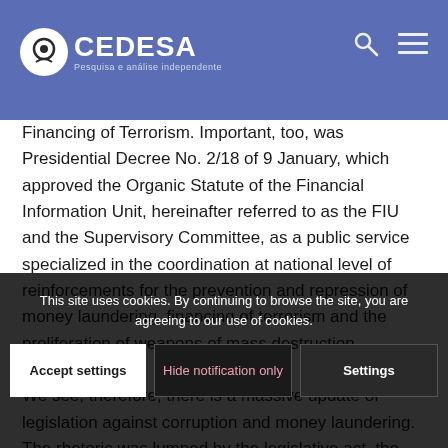CEDESA — Pesquisa e análise independente
Financing of Terrorism. Important, too, was Presidential Decree No. 2/18 of 9 January, which approved the Organic Statute of the Financial Information Unit, hereinafter referred to as the FIU and the Supervisory Committee, as a public service specialized in the coordination at national level of reinforcements for the prevention and repression of money laundering, financing of terrorism and the proliferation of weapons of mass destruction.

We see, therefore, there is a massive update of legislation against corruption and money laundering. The rhetoric was lumped by the legislative act, the words to the...
This site uses cookies. By continuing to browse the site, you are agreeing to our use of cookies.